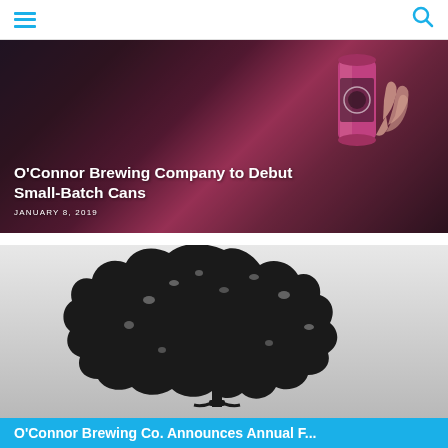Navigation header with hamburger menu and search icon
[Figure (photo): Person holding a pink/magenta craft beer can against a dark background]
O'Connor Brewing Company to Debut Small-Batch Cans
JANUARY 8, 2019
[Figure (illustration): Black tree silhouette on a light gray background, below which begins a second article headline]
O'Connor Brewing Co. Announces Annual F...